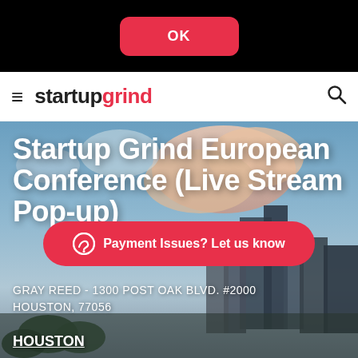[Figure (screenshot): Black top bar with a red rounded OK button centered in it]
startup grind
[Figure (photo): City skyline with clouds and skyscrapers as hero background image]
Startup Grind European Conference (Live Stream Pop-up)
[Figure (infographic): Red pill-shaped button with chat icon: Payment Issues? Let us know]
GRAY REED - 1300 POST OAK BLVD. #2000 HOUSTON, 77056
HOUSTON